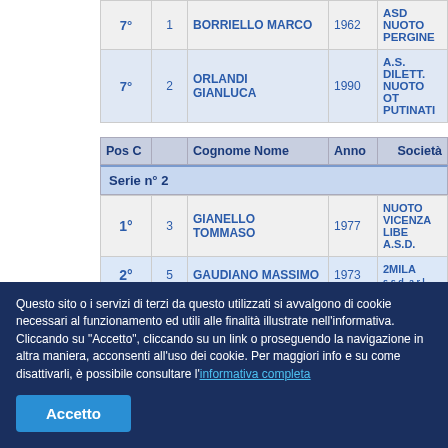| Pos C |  | Cognome Nome | Anno | Società |
| --- | --- | --- | --- | --- |
| 7° | 1 | BORRIELLO MARCO | 1962 | ASD NUOTO PERGINE |
| 7° | 2 | ORLANDI GIANLUCA | 1990 | A.S. DILETT. NUOTO OT PUTINATI |
| Pos C |  | Cognome Nome | Anno | Società |
| --- | --- | --- | --- | --- |
| Serie n° 2 |  |  |  |  |
| 1° | 3 | GIANELLO TOMMASO | 1977 | NUOTO VICENZA LIBE A.S.D. |
| 2° | 5 | GAUDIANO MASSIMO | 1973 | 2MILA s.s.d. a r.l. |
Questo sito o i servizi di terzi da questo utilizzati si avvalgono di cookie necessari al funzionamento ed utili alle finalità illustrate nell'informativa. Cliccando su "Accetto", cliccando su un link o proseguendo la navigazione in altra maniera, acconsenti all'uso dei cookie. Per maggiori info e su come disattivarli, è possibile consultare l'informativa completa